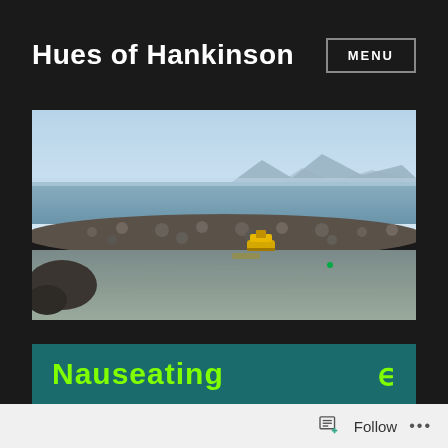Hues of Hankinson
MENU
[Figure (photo): Coastal landscape scene with a rocky breakwater/seawall in the middle ground, calm tidal mudflats in the foreground, a yellow boat visible on the water, and mountains in the distant background under a hazy blue sky.]
Game Over.
[Figure (screenshot): Teal/dark teal banner with bright green text reading 'Nauseating' and a stylized cursive symbol on the right side.]
Follow ...